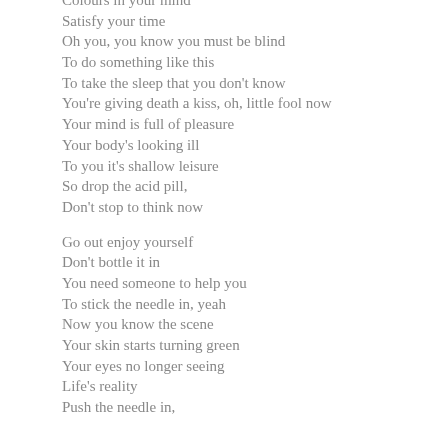Colours in your mind
Satisfy your time
Oh you, you know you must be blind
To do something like this
To take the sleep that you don't know
You're giving death a kiss, oh, little fool now
Your mind is full of pleasure
Your body's looking ill
To you it's shallow leisure
So drop the acid pill,
Don't stop to think now

Go out enjoy yourself
Don't bottle it in
You need someone to help you
To stick the needle in, yeah
Now you know the scene
Your skin starts turning green
Your eyes no longer seeing
Life's reality
Push the needle in,